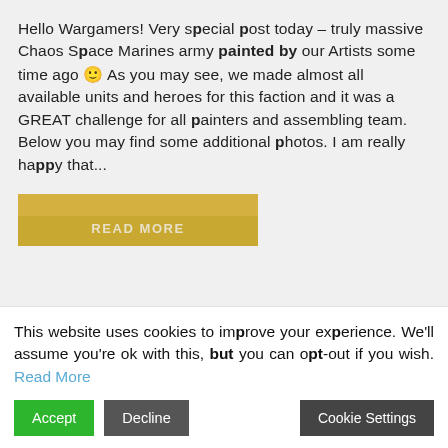Hello Wargamers! Very special post today – truly massive Chaos Space Marines army painted by our Artists some time ago 🙂 As you may see, we made almost all available units and heroes for this faction and it was a GREAT challenge for all painters and assembling team. Below you may find some additional photos. I am really happy that...
[Figure (other): READ MORE button with gold/yellow gradient background]
This website uses cookies to improve your experience. We'll assume you're ok with this, but you can opt-out if you wish. Read More
Accept | Decline | Cookie Settings